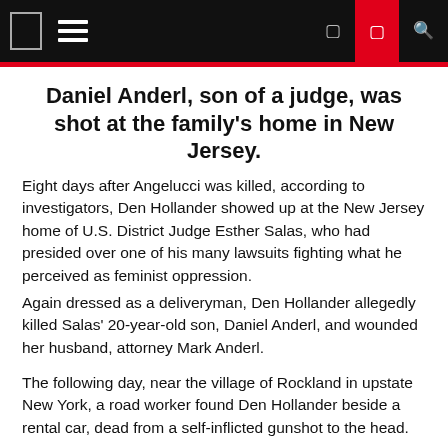Navigation bar with hamburger menu and icons
Daniel Anderl, son of a judge, was shot at the family's home in New Jersey.
Eight days after Angelucci was killed, according to investigators, Den Hollander showed up at the New Jersey home of U.S. District Judge Esther Salas, who had presided over one of his many lawsuits fighting what he perceived as feminist oppression.
Again dressed as a deliveryman, Den Hollander allegedly killed Salas' 20-year-old son, Daniel Anderl, and wounded her husband, attorney Mark Anderl.
The following day, near the village of Rockland in upstate New York, a road worker found Den Hollander beside a rental car, dead from a self-inflicted gunshot to the head.